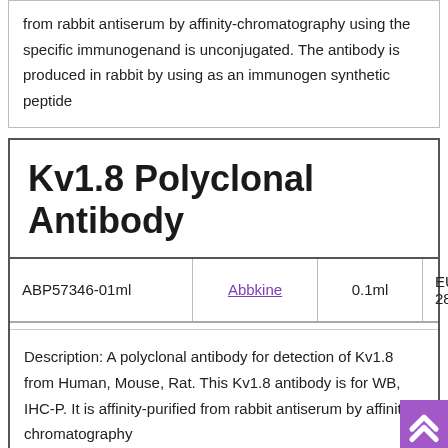from rabbit antiserum by affinity-chromatography using the specific immunogenand is unconjugated. The antibody is produced in rabbit by using as an immunogen synthetic peptide
Kv1.8 Polyclonal Antibody
|  | Brand | Volume | Price |
| --- | --- | --- | --- |
| ABP57346-01ml | Abbkine | 0.1ml | EUR 289 |
Description: A polyclonal antibody for detection of Kv1.8 from Human, Mouse, Rat. This Kv1.8 antibody is for WB, IHC-P. It is affinity-purified from rabbit antiserum by affinity-chromatography